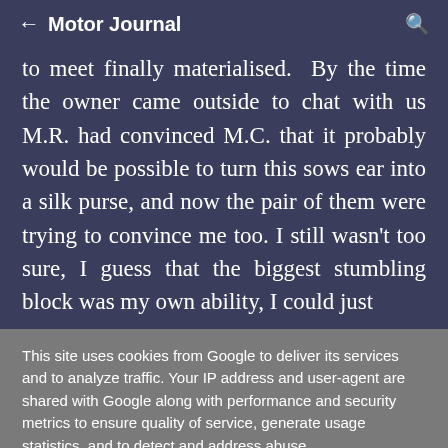← Motor Journal 🔍
to meet finally materialised. By the time the owner came outside to chat with us M.R. had convinced M.C. that it probably would be possible to turn this sows ear into a silk purse, and now the pair of them were trying to convince me too. I still wasn't too sure, I guess that the biggest stumbling block was my own ability, I could just
This site uses cookies from Google to deliver its services and to analyze traffic. Your IP address and user-agent are shared with Google along with performance and security metrics to ensure quality of service, generate usage statistics, and to detect and address abuse.
LEARN MORE   OK